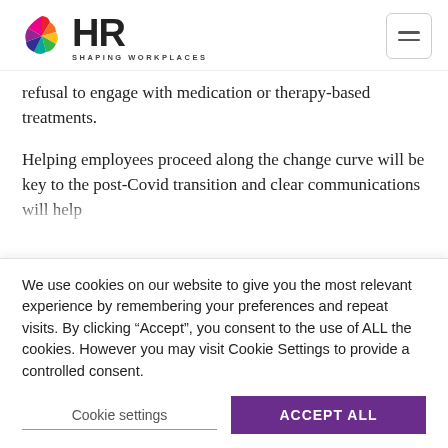HR SHAPING WORKPLACES
refusal to engage with medication or therapy-based treatments.
Helping employees proceed along the change curve will be key to the post-Covid transition and clear communications will help
We use cookies on our website to give you the most relevant experience by remembering your preferences and repeat visits. By clicking “Accept”, you consent to the use of ALL the cookies. However you may visit Cookie Settings to provide a controlled consent.
Cookie settings
ACCEPT ALL